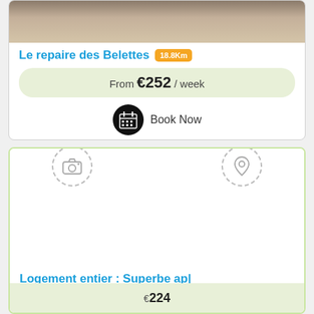[Figure (photo): Bedroom photo showing a bed with gray bedding]
Le repaire des Belettes 18.8Km
From €252 / week
Book Now
[Figure (illustration): Camera icon in dashed circle]
[Figure (illustration): Location pin icon in dashed circle]
Logement entier : Superbe ap|